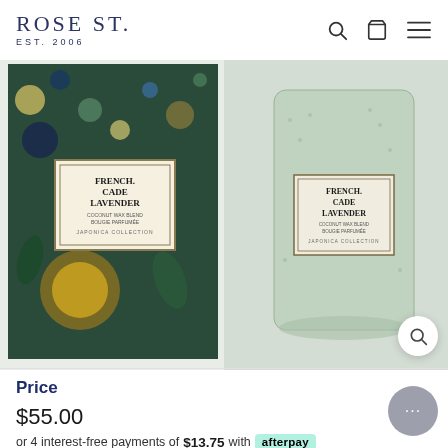ROSE ST. EST. 2006
[Figure (photo): Two Voluspa French Cade Lavender candles side by side — left shows decorative box packaging with floral/botanical pattern, right shows the glass jar candle with textured green glass and label.]
Price
$55.00
or 4 interest-free payments of $13.75 with afterpay